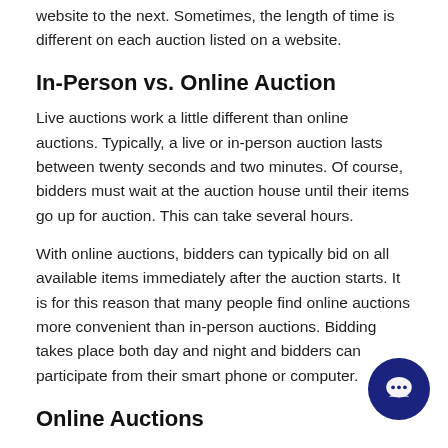website to the next. Sometimes, the length of time is different on each auction listed on a website.
In-Person vs. Online Auction
Live auctions work a little different than online auctions. Typically, a live or in-person auction lasts between twenty seconds and two minutes. Of course, bidders must wait at the auction house until their items go up for auction. This can take several hours.
With online auctions, bidders can typically bid on all available items immediately after the auction starts. It is for this reason that many people find online auctions more convenient than in-person auctions. Bidding takes place both day and night and bidders can participate from their smart phone or computer.
Online Auctions
Online auctions are...